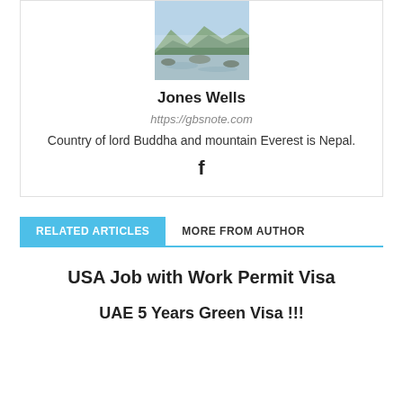[Figure (photo): Profile photo of Jones Wells showing a mountain lake landscape with rocky shores and misty hills in the background]
Jones Wells
https://gbsnote.com
Country of lord Buddha and mountain Everest is Nepal.
[Figure (other): Facebook icon (letter f)]
RELATED ARTICLES   MORE FROM AUTHOR
USA Job with Work Permit Visa
UAE 5 Years Green Visa !!!